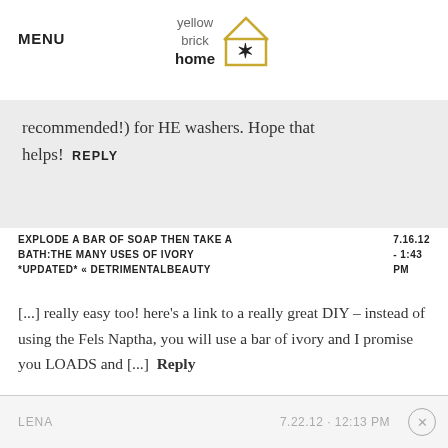MENU | yellow brick home [logo]
recommended!) for HE washers. Hope that helps!  REPLY
EXPLODE A BAR OF SOAP THEN TAKE A BATH:THE MANY USES OF IVORY *UPDATED* « DETRIMENTALBEAUTY   7.16.12 - 1:43 PM
[...] really easy too! here's a link to a really great DIY – instead of using the Fels Naptha, you will use a bar of ivory and I promise you LOADS and [...]  Reply
LENA   7.22.12 · 12:13 PM